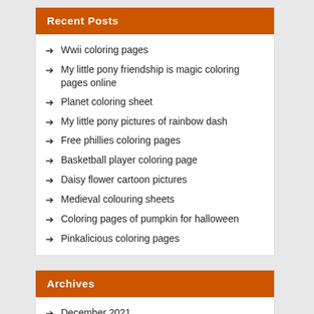Recent Posts
Wwii coloring pages
My little pony friendship is magic coloring pages online
Planet coloring sheet
My little pony pictures of rainbow dash
Free phillies coloring pages
Basketball player coloring page
Daisy flower cartoon pictures
Medieval colouring sheets
Coloring pages of pumpkin for halloween
Pinkalicious coloring pages
Archives
December 2021